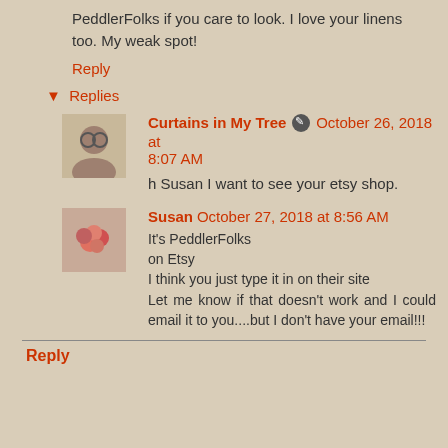PeddlerFolks if you care to look. I love your linens too. My weak spot!
Reply
▾ Replies
Curtains in My Tree ✎ October 26, 2018 at 8:07 AM
h Susan I want to see your etsy shop.
Susan  October 27, 2018 at 8:56 AM
It's PeddlerFolks
on Etsy
I think you just type it in on their site
Let me know if that doesn't work and I could email it to you....but I don't have your email!!!
Reply